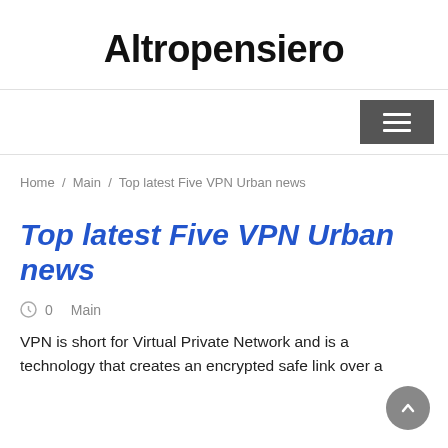Altropensiero
Home / Main / Top latest Five VPN Urban news
Top latest Five VPN Urban news
0   Main
VPN is short for Virtual Private Network and is a technology that creates an encrypted safe link over a